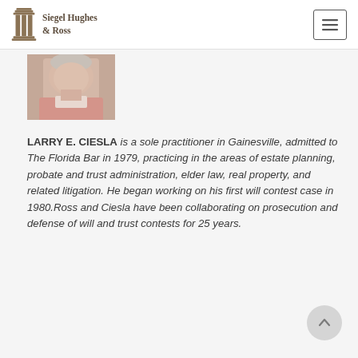Siegel Hughes & Ross
[Figure (photo): Headshot photo of Larry E. Ciesla, an older man with light skin, partially visible from shoulders up.]
LARRY E. CIESLA is a sole practitioner in Gainesville, admitted to The Florida Bar in 1979, practicing in the areas of estate planning, probate and trust administration, elder law, real property, and related litigation. He began working on his first will contest case in 1980.Ross and Ciesla have been collaborating on prosecution and defense of will and trust contests for 25 years.